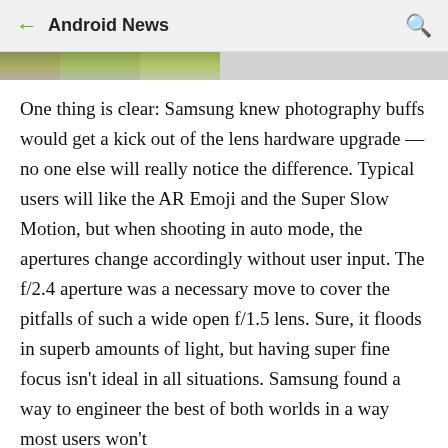Android News
[Figure (photo): Partial view of a photo strip showing greenery/outdoor scene, partially grayed out]
One thing is clear: Samsung knew photography buffs would get a kick out of the lens hardware upgrade — no one else will really notice the difference. Typical users will like the AR Emoji and the Super Slow Motion, but when shooting in auto mode, the apertures change accordingly without user input. The f/2.4 aperture was a necessary move to cover the pitfalls of such a wide open f/1.5 lens. Sure, it floods in superb amounts of light, but having super fine focus isn't ideal in all situations. Samsung found a way to engineer the best of both worlds in a way most users won't